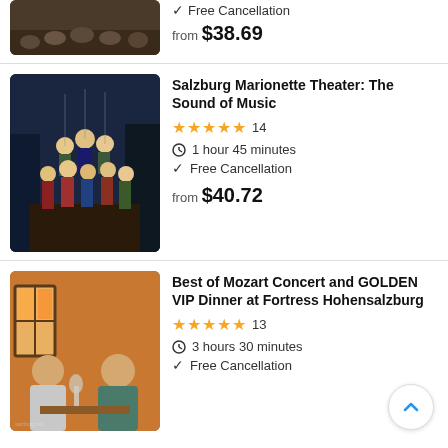[Figure (photo): Partial image of an audience or concert hall from top listing]
Free Cancellation
from $38.69
[Figure (photo): Marionette puppets performing The Sound of Music on stage — Salzburg Marionette Theater]
Salzburg Marionette Theater: The Sound of Music
★★★★★ 14
1 hour 45 minutes
Free Cancellation
from $40.72
[Figure (photo): A couple dining at a restaurant with wine glasses — Best of Mozart Concert and GOLDEN VIP Dinner at Fortress Hohensalzburg]
Best of Mozart Concert and GOLDEN VIP Dinner at Fortress Hohensalzburg
★★★★★ 13
3 hours 30 minutes
Free Cancellation